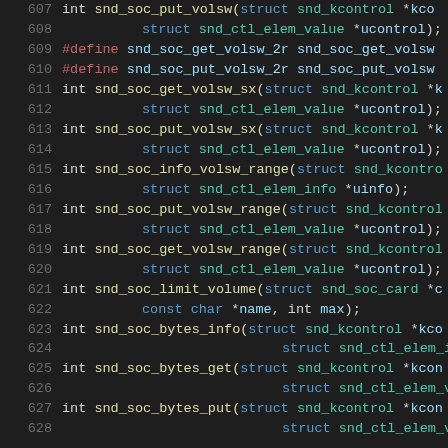[Figure (screenshot): Source code listing showing C function declarations and preprocessor defines related to ALSA sound SoC (System on Chip) API, lines 607-628, on a dark background editor theme.]